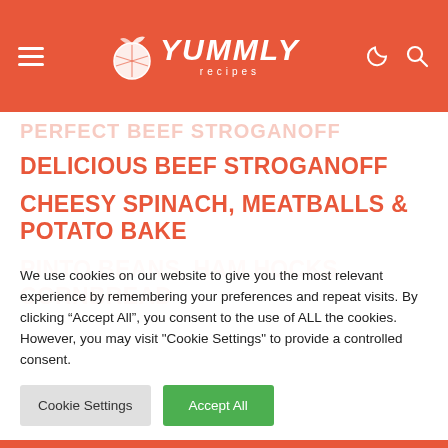YUMMLY recipes
DELICIOUS BEEF STROGANOFF
CHEESY SPINACH, MEATBALLS & POTATO BAKE
PINTO BEANS, HAM HOCKS CORNBREAD
We use cookies on our website to give you the most relevant experience by remembering your preferences and repeat visits. By clicking "Accept All", you consent to the use of ALL the cookies. However, you may visit "Cookie Settings" to provide a controlled consent.